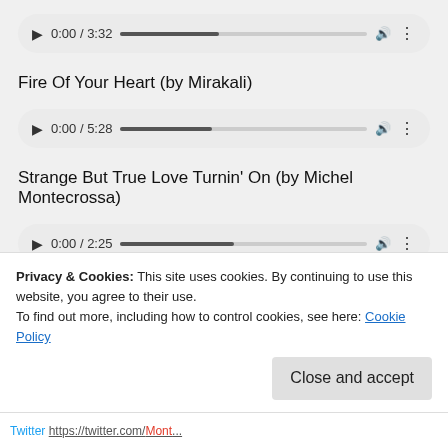[Figure (screenshot): Audio player showing 0:00 / 3:32 with progress bar, play button, volume and menu icons]
Fire Of Your Heart (by Mirakali)
[Figure (screenshot): Audio player showing 0:00 / 5:28 with progress bar, play button, volume and menu icons]
Strange But True Love Turnin' On (by Michel Montecrossa)
[Figure (screenshot): Audio player showing 0:00 / 2:25 with progress bar, play button, volume and menu icons]
Privacy & Cookies: This site uses cookies. By continuing to use this website, you agree to their use.
To find out more, including how to control cookies, see here: Cookie Policy
Close and accept
Twitter https://twitter.com/Monte...